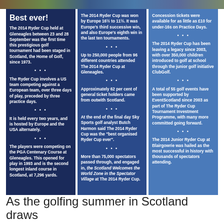[Figure (photo): Colorful horizontal banner image at the top of the page showing crowd/event scene]
Best ever!
The 2014 Ryder Cup held at Gleneagles between 23 and 28 September was the first time this prestigious golf tournament had been staged in Scotland, the Home of Golf, since 1973.
The Ryder Cup involves a US team competing against a European team, over three days of play, preceded by three practice days.
It is held every two years, and is hosted by Europe and the USA alternately.
The players were competing on the PGA Centenary Course at Gleneagles. This opened for play in 1993 and is the second longest inland course in Scotland, at 7,296 yards.
The 2014 Ryder Cup was won by Europe 16½ to 11½. It was Europe's third successive win, and also Europe's eighth win in the last ten tournaments.
Up to 250,000 people from 96 different countries attended The 2014 Ryder Cup at Gleneagles.
Approximately 62 per cent of general ticket holders came from outwith Scotland.
At the end of the final day Sky Sports golf analyst Butch Harmon said The 2014 Ryder Cup was the "best organised Ryder Cup ever".
More than 75,000 spectators passed through, and engaged in, the Scotland Welcomes the World Zone in the Spectator Village at The 2014 Ryder Cup.
Concession tickets were available for as little as £10 for under-16s on Practice Days.
The 2014 Ryder Cup has been leaving a legacy since 2003, with over 350,000 children introduced to golf at school through the junior golf initiative ClubGolf.
A total of 55 golf events have been supported by EventScotland since 2003 as part of The Ryder Cup Tournament Investment Programme, with many more committed going forward.
The 2014 Junior Ryder Cup at Blairgowrie was hailed as the most successful in history with thousands of spectators attending.
As the golfing summer in Scotland draws